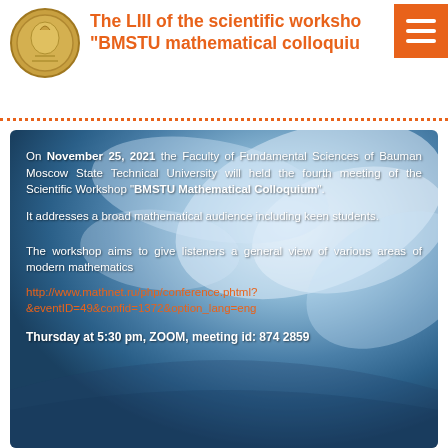The LIII of the scientific workshop "BMSTU mathematical colloquium"
[Figure (illustration): Globe/Earth background with event announcement card. Text overlay describes the BMSTU Mathematical Colloquium event on November 25, 2021, including link http://www.mathnet.ru/php/conference.phtml?&eventID=49&confid=1372&option_lang=eng and Thursday at 5:30 pm, ZOOM, meeting id: 874 2859]
On November 25, 2021 the Faculty of Fundamental Sciences of Bauman Moscow State Technical University will held the fourth meeting of the Scientific Workshop "BMSTU Mathematical Colloquium".
It addresses a broad mathematical audience including keen students.
The workshop aims to give listeners a general view of various areas of modern mathematics
http://www.mathnet.ru/php/conference.phtml?&eventID=49&confid=1372&option_lang=eng
Thursday at 5:30 pm, ZOOM, meeting id: 874 2859